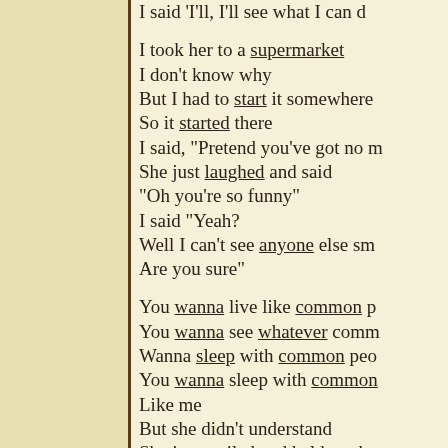I said 'I'll, I'll see what I can d
I took her to a supermarket
I don't know why
But I had to start it somewhere
So it started there
I said, "Pretend you've got no m
She just laughed and said
"Oh you're so funny"
I said "Yeah?
Well I can't see anyone else sm
Are you sure"

You wanna live like common p
You wanna see whatever comm
Wanna sleep with common peo
You wanna sleep with common
Like me
But she didn't understand
She just smiled and held my ha

Rent a flat above a shop
Cut your hair and get a job